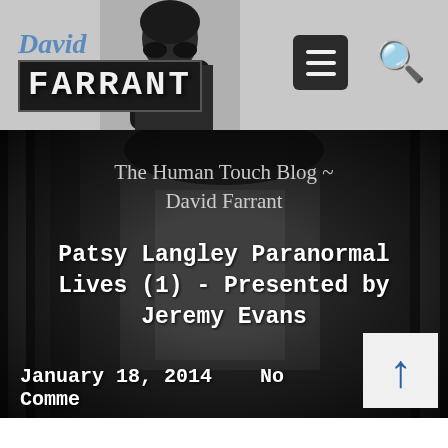David FARRANT
[Figure (screenshot): Navigation header with hamburger menu icon and search icon on grey background]
The Human Touch Blog ~ David Farrant
Patsy Langley Paranormal Lives (1) - Presented by Jeremy Evans
January 18, 2014    No Comments
[Figure (photo): Dark black and white background photo of a building colonnade/corridor]